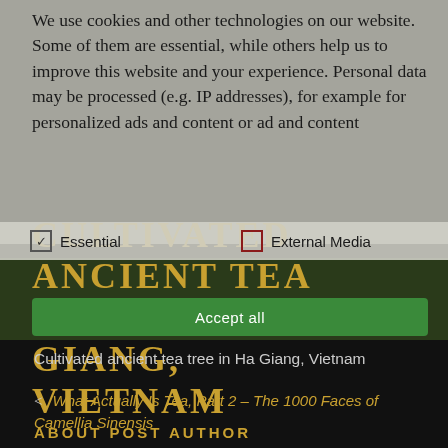We use cookies and other technologies on our website. Some of them are essential, while others help us to improve this website and your experience. Personal data may be processed (e.g. IP addresses), for example for personalized ads and content or ad and content
✓ Essential   ☐ External Media
CULTIVATED ANCIENT TEA TREE IN HA GIANG, VIETNAM
Accept all
Cultivated ancient tea tree in Ha Giang, Vietnam
< What Actually Is Tea, Part 2 – The 1000 Faces of Camellia Sinensis
ABOUT POST AUTHOR